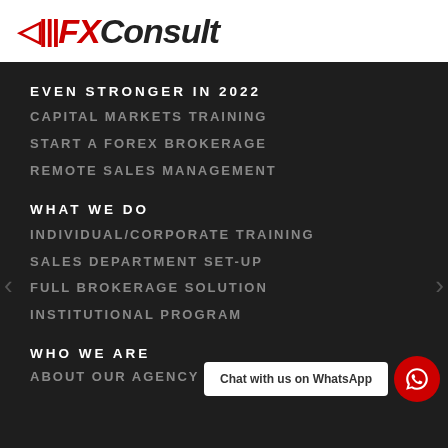[Figure (logo): AllFXConsult logo with red bars icon and stylized FXConsult text]
EVEN STRONGER IN 2022
CAPITAL MARKETS TRAINING
START A FOREX BROKERAGE
REMOTE SALES MANAGEMENT
WHAT WE DO
INDIVIDUAL/CORPORATE TRAINING
SALES DEPARTMENT SET-UP
FULL BROKERAGE SOLUTION
INSTITUTIONAL PROGRAM
WHO WE ARE
ABOUT OUR AGENCY
Chat with us on WhatsApp